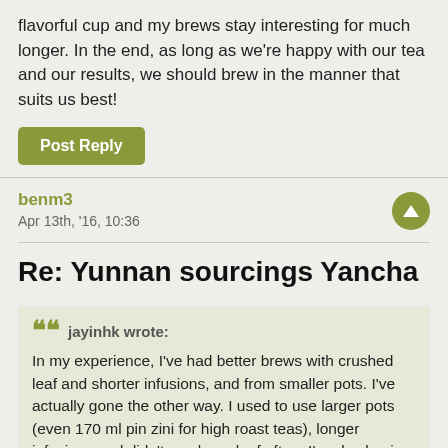flavorful cup and my brews stay interesting for much longer. In the end, as long as we're happy with our tea and our results, we should brew in the manner that suits us best!
Post Reply
benm3
Apr 13th, '16, 10:36
Re: Yunnan sourcings Yancha
jayinhk wrote: In my experience, I've had better brews with crushed leaf and shorter infusions, and from smaller pots. I've actually gone the other way. I used to use larger pots (even 170 ml pin zini for high roast teas), longer infusions and didn't crush my leaf often. I'm also having more success with flash infusions of dancong from my gaiwan or pots than longer